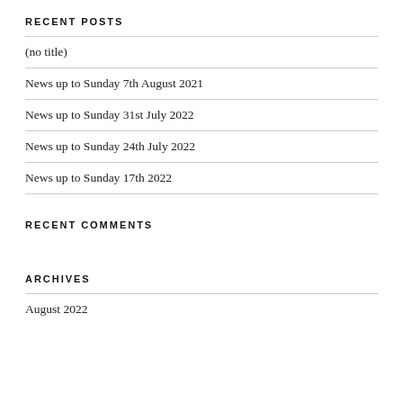RECENT POSTS
(no title)
News up to Sunday 7th August 2021
News up to Sunday 31st July 2022
News up to Sunday 24th July 2022
News up to Sunday 17th 2022
RECENT COMMENTS
ARCHIVES
August 2022